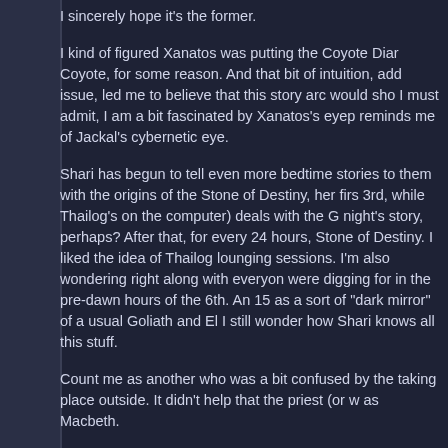I sincerely hope it's the former.
I kind of figured Xanatos was putting the Coyote Diar Coyote, for some reason. And that bit of intuition, add issue, led me to believe that this story arc would sho I must admit, I am a bit fascinated by Xanatos's eyep reminds me of Jackal's cybernetic eye.
Shari has begun to tell even more bedtime stories to them with the origins of the Stone of Destiny, her firs 3rd, while Thailog's on the computer) deals with the G night's story, perhaps? After that, for every 24 hours, Stone of Destiny. I liked the idea of Thailog lounging sessions. I'm also wondering right along with everyon were digging for in the pre-dawn hours of the 6th. An 15 as a sort of "dark mirror" of a usual Goliath and El I still wonder how Shari knows all this stuff.
Count me as another who was a bit confused by the taking place outside. It didn't help that the priest (or w as Macbeth.
Like how Macbeth indicates that Xanatos seemed to...